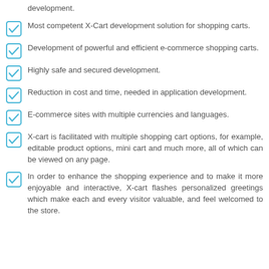Highly flexible and scalable customized e-commerce development.
Most competent X-Cart development solution for shopping carts.
Development of powerful and efficient e-commerce shopping carts.
Highly safe and secured development.
Reduction in cost and time, needed in application development.
E-commerce sites with multiple currencies and languages.
X-cart is facilitated with multiple shopping cart options, for example, editable product options, mini cart and much more, all of which can be viewed on any page.
In order to enhance the shopping experience and to make it more enjoyable and interactive, X-cart flashes personalized greetings which make each and every visitor valuable, and feel welcomed to the store.